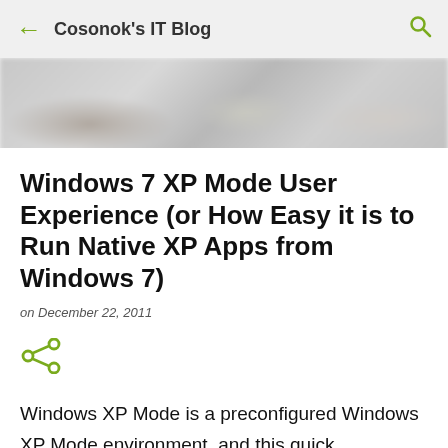Cosonok's IT Blog
[Figure (photo): Blurred banner/header image area with indistinct shapes]
Windows 7 XP Mode User Experience (or How Easy it is to Run Native XP Apps from Windows 7)
on December 22, 2011
[Figure (other): Share icon (green)]
Windows XP Mode is a preconfigured Windows XP Mode environment, and this quick walkthrough will show how easy it is to get a native XP